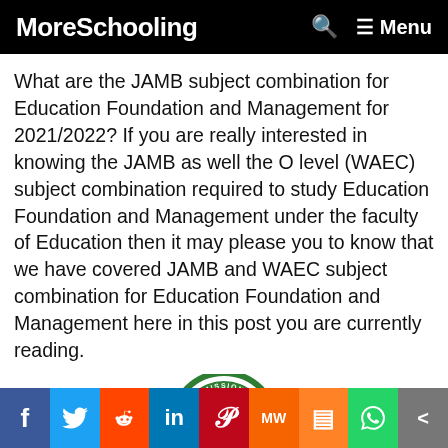MoreSchooling  Menu
What are the JAMB subject combination for Education Foundation and Management for 2021/2022? If you are really interested in knowing the JAMB as well the O level (WAEC) subject combination required to study Education Foundation and Management under the faculty of Education then it may please you to know that we have covered JAMB and WAEC subject combination for Education Foundation and Management here in this post you are currently reading.
[Figure (logo): NT ADMISSIONS circular badge/seal with green border and red house icon]
Social share bar: Facebook, Twitter, Reddit, LinkedIn, Pinterest, MeWe, Mix, WhatsApp, Share